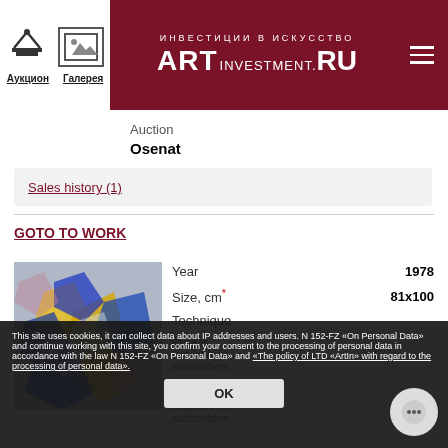ART INVESTMENT.RU — Инвестиции в Искусство | Аукцион | Галерея
Auction
Osenat
Sales history (1)
GOTO TO WORK
[Figure (photo): Abstract painting with blue and yellow brushstrokes]
| Property | Value |
| --- | --- |
| Year | 1978 |
| Size, cm* | 81x100 |
| Technique |  |
| Price is | available to subscribers |
| Last sale | available for subscribers |
This site uses cookies, it can collect data about IP addresses and users. N 152-FZ «On Personal Data» and continue working with this site, you confirm your consent to the processing of personal data in accordance with the law N 152-FZ «On Personal Data» and «The policy of LTD «ArtIn» with regard to the processing of personal data».